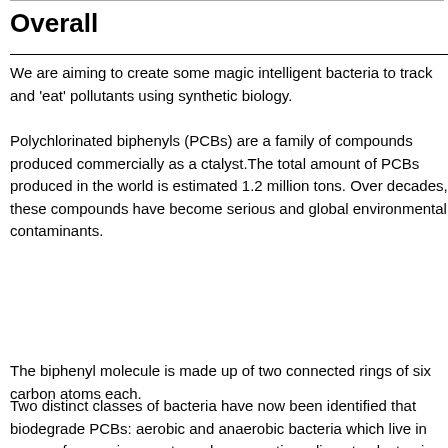Overall
We are aiming to create some magic intelligent bacteria to track and 'eat' pollutants using synthetic biology.
Polychlorinated biphenyls (PCBs) are a family of compounds produced commercially as a catalyst.The total amount of PCBs produced in the world is estimated 1.2 million tons. Over decades, these compounds have become serious and global environmental co...
The biphenyl molecule is made up of two connected rings of six carbon atoms e...
Two distinct classes of bacteria have now been identified that biodegrade PCBs: aerobic and anaerobic bacteria which live in oxygen free environments such as aquatic... destroying the compounds. Anaerobes, on the other hand, leave the biphenyl ri...